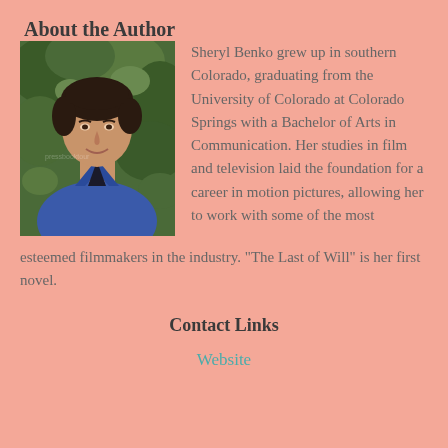About the Author
[Figure (photo): Author Sheryl Benko headshot: woman with short brown hair wearing a blue denim jacket, standing in front of green foliage]
Sheryl Benko grew up in southern Colorado, graduating from the University of Colorado at Colorado Springs with a Bachelor of Arts in Communication. Her studies in film and television laid the foundation for a career in motion pictures, allowing her to work with some of the most esteemed filmmakers in the industry. "The Last of Will" is her first novel.
Contact Links
Website